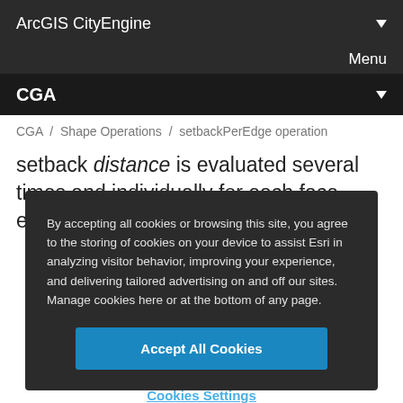ArcGIS CityEngine
Menu
CGA
CGA / Shape Operations / setbackPerEdge operation
setback distance is evaluated several times and individually for each face edge. Shared edges are
By accepting all cookies or browsing this site, you agree to the storing of cookies on your device to assist Esri in analyzing visitor behavior, improving your experience, and delivering tailored advertising on and off our sites. Manage cookies here or at the bottom of any page.
Accept All Cookies
Cookies Settings